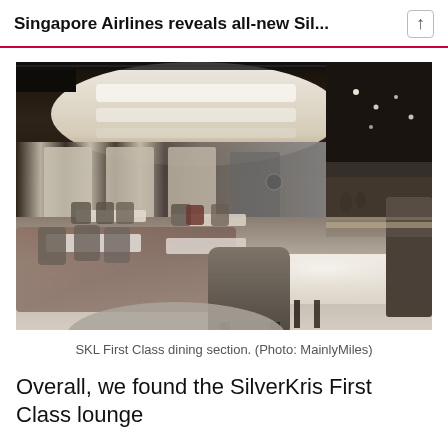Singapore Airlines reveals all-new Sil...
[Figure (photo): Interior of the SilverKris Lounge (SKL) First Class dining section showing elegant tables, upholstered chairs, decorative ceiling with lighting, and polished floors.]
SKL First Class dining section. (Photo: MainlyMiles)
Overall, we found the SilverKris First Class lounge